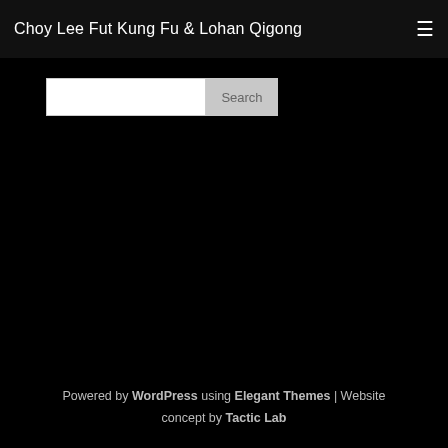Choy Lee Fut Kung Fu & Lohan Qigong
[Figure (other): Search bar with text input and Search button]
Privacy Policy
Powered by WordPress using Elegant Themes | Website concept by Tactic Lab